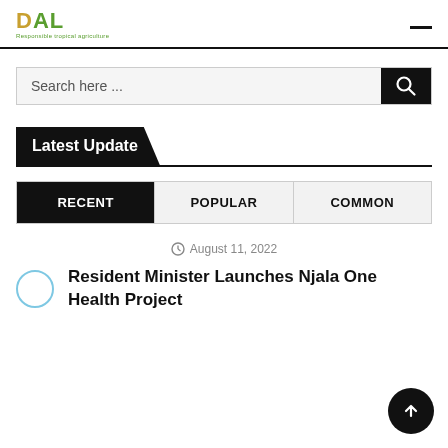DAL - Responsible tropical agriculture
[Figure (other): Search bar with black search button and magnifying glass icon]
Latest Update
RECENT | POPULAR | COMMON
August 11, 2022
Resident Minister Launches Njala One Health Project